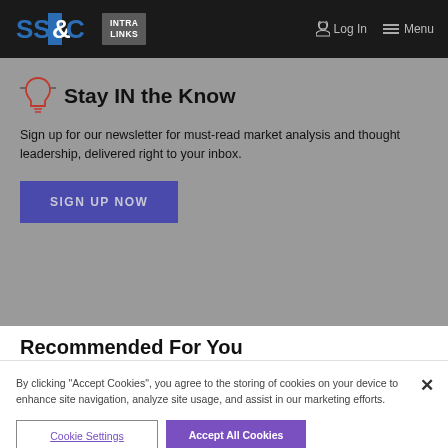SS&C INTRA LINKS — Log In — Menu
Stay IN the Know
Sign up for our newsletter for must-read market analysis and thought leadership, delivered right to your inbox.
SIGN UP NOW
Recommended For You
By clicking "Accept Cookies", you agree to the storing of cookies on your device to enhance site navigation, analyze site usage, and assist in our marketing efforts.
Cookie Settings
Accept All Cookies